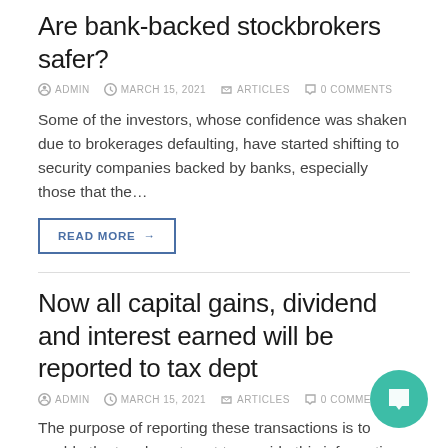Are bank-backed stockbrokers safer?
ADMIN   MARCH 15, 2021   ARTICLES   0 COMMENTS
Some of the investors, whose confidence was shaken due to brokerages defaulting, have started shifting to security companies backed by banks, especially those that the…
READ MORE →
Now all capital gains, dividend and interest earned will be reported to tax dept
ADMIN   MARCH 15, 2021   ARTICLES   0 COMMENTS
The purpose of reporting these transactions is to enable the tax department to provide this information pre-filled in